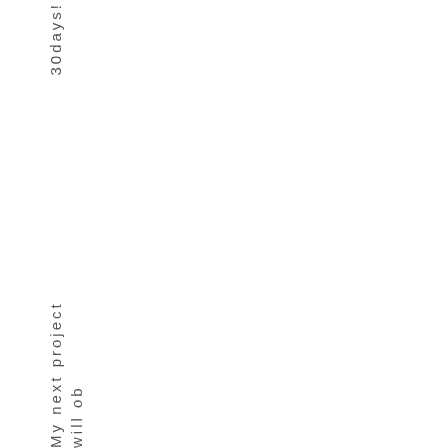30days!
My next project will ob